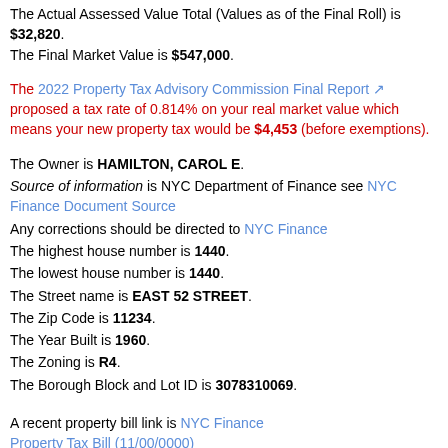The Actual Assessed Value Total (Values as of the Final Roll) is $32,820. The Final Market Value is $547,000.
The 2022 Property Tax Advisory Commission Final Report proposed a tax rate of 0.814% on your real market value which means your new property tax would be $4,453 (before exemptions).
The Owner is HAMILTON, CAROL E. Source of information is NYC Department of Finance see NYC Finance Document Source Any corrections should be directed to NYC Finance The highest house number is 1440. The lowest house number is 1440. The Street name is EAST 52 STREET. The Zip Code is 11234. The Year Built is 1960. The Zoning is R4. The Borough Block and Lot ID is 3078310069.
A recent property bill link is NYC Finance Property Tax Bill (11/00/0000)